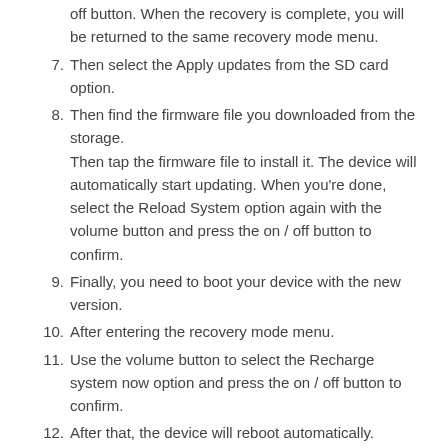off button. When the recovery is complete, you will be returned to the same recovery mode menu.
7. Then select the Apply updates from the SD card option.
8. Then find the firmware file you downloaded from the storage. Then tap the firmware file to install it. The device will automatically start updating. When you're done, select the Reload System option again with the volume button and press the on / off button to confirm.
9. Finally, you need to boot your device with the new version.
10. After entering the recovery mode menu.
11. Use the volume button to select the Recharge system now option and press the on / off button to confirm.
12. After that, the device will reboot automatically.
13. You have successfully exited recovery mode
Asus zenfone 4 selfie pro zd552kl Flashing with Flash Tool